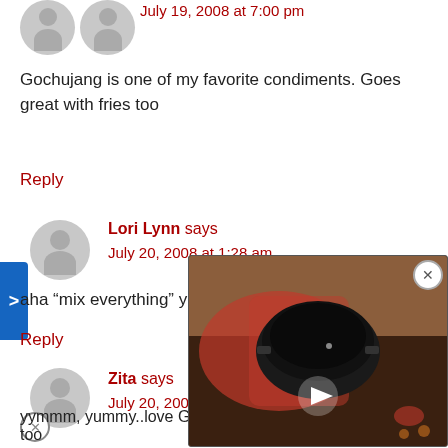July 19, 2008 at 7:00 pm
Gochujang is one of my favorite condiments. Goes great with fries too
Reply
Lori Lynn says
July 20, 2008 at 1:28 am
aha “mix everything” you are funny
Reply
Zita says
July 20, 2008 at 8:02 am
yymmm, yummy..love Gochujang sauce, love bimbimbab too
[Figure (photo): Video thumbnail showing a black Korean stone bowl (dolsot) on a red patterned cloth with the number 1 displayed]